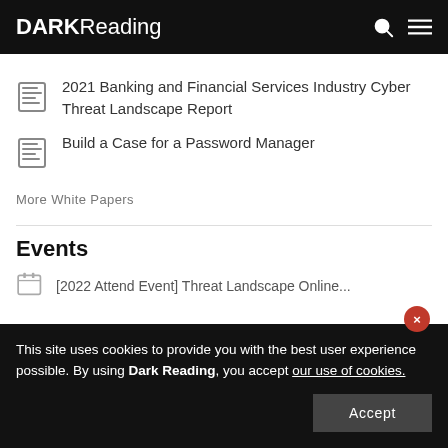DARK Reading
2021 Banking and Financial Services Industry Cyber Threat Landscape Report
Build a Case for a Password Manager
More White Papers
Events
This site uses cookies to provide you with the best user experience possible. By using Dark Reading, you accept our use of cookies.